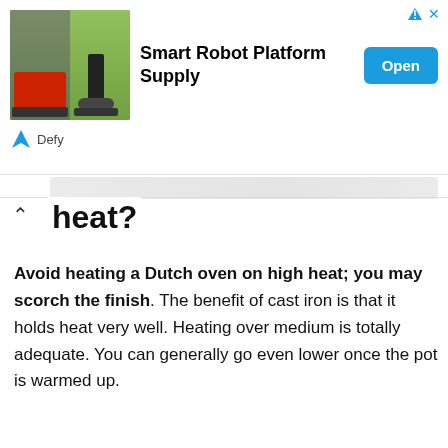[Figure (screenshot): Advertisement banner for Smart Robot Platform Supply by Defy, showing two robot images on the left, bold title text in the center, and a blue Open button on the right.]
heat?
Avoid heating a Dutch oven on high heat; you may scorch the finish. The benefit of cast iron is that it holds heat very well. Heating over medium is totally adequate. You can generally go even lower once the pot is warmed up.
How do you season a Dutch oven for the first time?
How To Season Your Dutch Oven